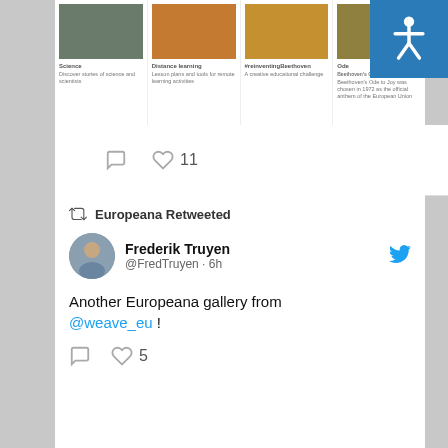[Figure (screenshot): Four content cards showing Science, Distance learning, #reinventingBeethoven, and Beethoven's Ode to Joy]
❤ 11
Europeana Retweeted
Frederik Truyen @FredTruyen · 6h
Another Europeana gallery from @weave_eu !
❤ 5
Europeana
Archives
July 2022
June 2022
May 2022